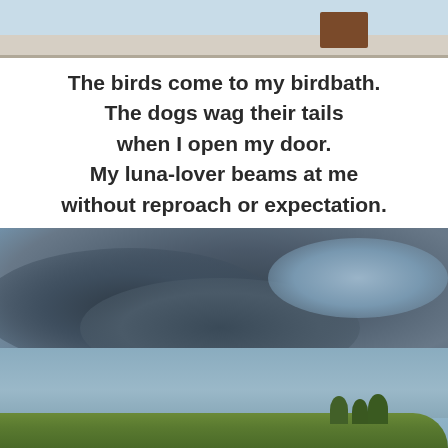[Figure (photo): Partial photo at top of page showing what appears to be a building exterior with light blue/beige tones and a dark brown rectangular element visible at upper right]
The birds come to my birdbath.
The dogs wag their tails
when I open my door.
My luna-lover beams at me
without reproach or expectation.
[Figure (photo): Outdoor photograph of a dramatic cloudy sky with dark storm clouds against a blue sky, with a green hillside with trees and some buildings visible at the bottom of the image]